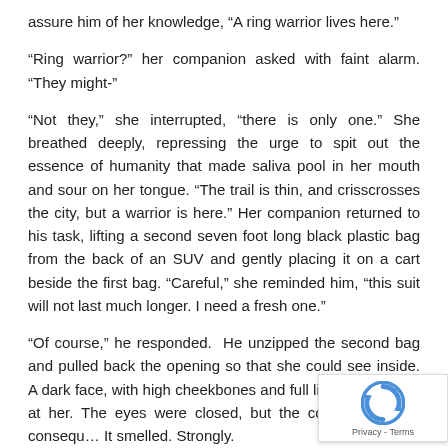assure him of her knowledge, “A ring warrior lives here.”
“Ring warrior?” her companion asked with faint alarm. “They might-”
“Not they,” she interrupted, “there is only one.” She breathed deeply, repressing the urge to spit out the essence of humanity that made saliva pool in her mouth and sour on her tongue. “The trail is thin, and crisscrosses the city, but a warrior is here.” Her companion returned to his task, lifting a second seven foot long black plastic bag from the back of an SUV and gently placing it on a cart beside the first bag. “Careful,” she reminded him, “this suit will not last much longer. I need a fresh one.”
“Of course,” he responded.  He unzipped the second bag and pulled back the opening so that she could see inside. A dark face, with high cheekbones and full lips looked back at her. The eyes were closed, but the color was of no consequ… It smelled. Strongly.
[Figure (logo): reCAPTCHA badge with icon and Privacy - Terms text]